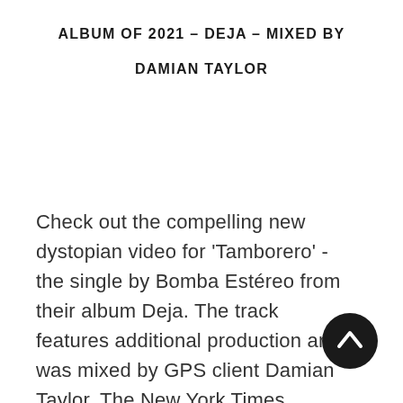ALBUM OF 2021 – DEJA – MIXED BY DAMIAN TAYLOR
Check out the compelling new dystopian video for 'Tamborero' - the single by Bomba Estéreo from their album Deja. The track features additional production and was mixed by GPS client Damian Taylor. The New York Times highlighted the best albums of 2021 and Deja landed the...
[Figure (other): Dark circular button with upward-pointing arrow icon for scrolling to top]